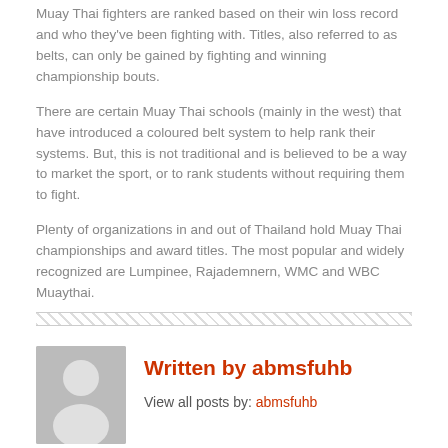Muay Thai fighters are ranked based on their win loss record and who they've been fighting with. Titles, also referred to as belts, can only be gained by fighting and winning championship bouts.
There are certain Muay Thai schools (mainly in the west) that have introduced a coloured belt system to help rank their systems. But, this is not traditional and is believed to be a way to market the sport, or to rank students without requiring them to fight.
Plenty of organizations in and out of Thailand hold Muay Thai championships and award titles. The most popular and widely recognized are Lumpinee, Rajademnern, WMC and WBC Muaythai.
[Figure (illustration): Decorative diagonal hatching divider line]
[Figure (illustration): Grey avatar placeholder showing a person silhouette]
Written by abmsfuhb
View all posts by: abmsfuhb